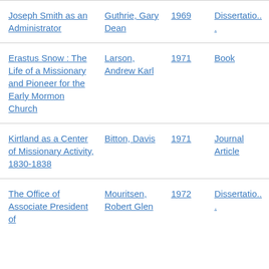| Title | Author | Year | Type |
| --- | --- | --- | --- |
| Joseph Smith as an Administrator | Guthrie, Gary Dean | 1969 | Dissertation |
| Erastus Snow : The Life of a Missionary and Pioneer for the Early Mormon Church | Larson, Andrew Karl | 1971 | Book |
| Kirtland as a Center of Missionary Activity, 1830-1838 | Bitton, Davis | 1971 | Journal Article |
| The Office of Associate President of | Mouritsen, Robert Glen | 1972 | Dissertation |